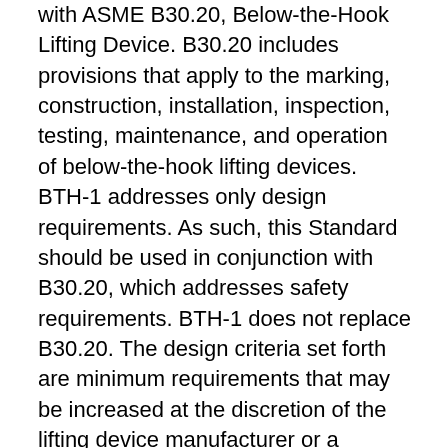with ASME B30.20, Below-the-Hook Lifting Device. B30.20 includes provisions that apply to the marking, construction, installation, inspection, testing, maintenance, and operation of below-the-hook lifting devices. BTH-1 addresses only design requirements. As such, this Standard should be used in conjunction with B30.20, which addresses safety requirements. BTH-1 does not replace B30.20. The design criteria set forth are minimum requirements that may be increased at the discretion of the lifting device manufacturer or a qualified person. Key changes to this revision of BTH-1 include: Addition of chapter of requirements for Lifting Magnet Design with additional commentary found in a corresponding new Nonmandatory Appendix; Addition of design requirements for new Design Category for